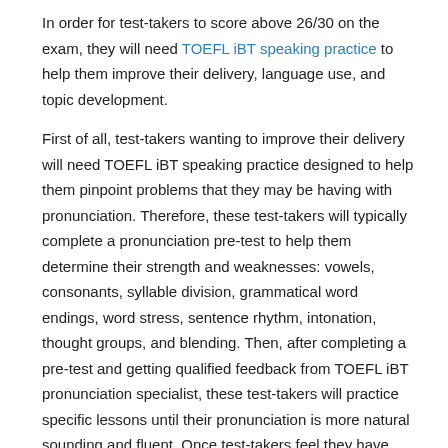In order for test-takers to score above 26/30 on the exam, they will need TOEFL iBT speaking practice to help them improve their delivery, language use, and topic development.
First of all, test-takers wanting to improve their delivery will need TOEFL iBT speaking practice designed to help them pinpoint problems that they may be having with pronunciation. Therefore, these test-takers will typically complete a pronunciation pre-test to help them determine their strength and weaknesses: vowels, consonants, syllable division, grammatical word endings, word stress, sentence rhythm, intonation, thought groups, and blending. Then, after completing a pre-test and getting qualified feedback from TOEFL iBT pronunciation specialist, these test-takers will practice specific lessons until their pronunciation is more natural sounding and fluent. Once test-takers feel they have mastered all the pronunciation lessons, they will complete a final post-test and get a final assessment of their pronunciation strengths and weaknesses.